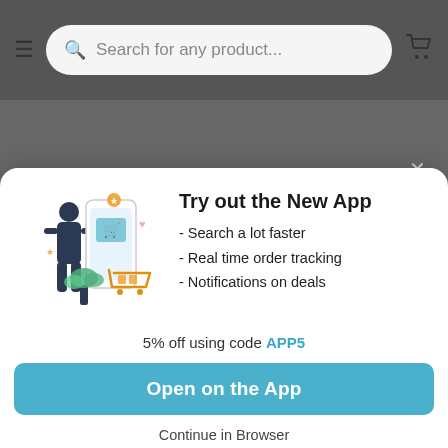[Figure (screenshot): Mobile e-commerce website header with hamburger menu, search bar reading 'Search for any product...' and cart icon on dark grey background]
You are browsing UAE's store. We have a store for UNITED STATES. Visit your country store to
[Figure (illustration): App promotion illustration showing a person using a smartphone with shopping cart and stars graphics]
Try out the New App
- Search a lot faster
- Real time order tracking
- Notifications on deals
5% off using code APP5
Open on the App
Continue in Browser